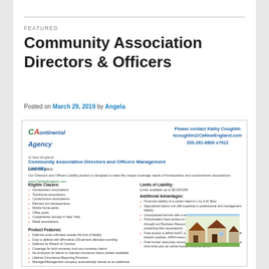FEATURED
Community Association Directors & Officers
Posted on March 29, 2019 by Angela
[Figure (other): Embedded insurance flyer for Continental Agency of New England featuring Community Association Directors and Officers Management Liability product details including eligible classes, product features, limits of liability, and additional advantages.]